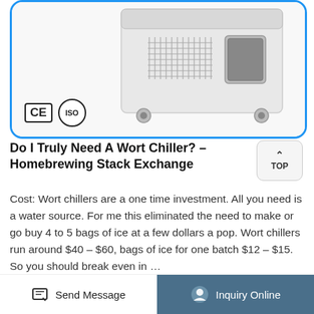[Figure (photo): White industrial chiller/cooling machine with vents and casters on a white background, with CE and ISO certification badges in lower left]
Do I Truly Need A Wort Chiller? – Homebrewing Stack Exchange
Cost: Wort chillers are a one time investment. All you need is a water source. For me this eliminated the need to make or go buy 4 to 5 bags of ice at a few dollars a pop. Wort chillers run around $40 – $60, bags of ice for one batch $12 – $15. So you should break even in …
Send Message | Inquiry Online